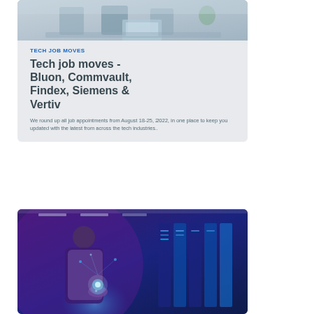[Figure (photo): People working at a table with a laptop in an office or cafe setting]
TECH JOB MOVES
Tech job moves - Bluon, Commvault, Findex, Siemens & Vertiv
We round up all job appointments from August 18-25, 2022, in one place to keep you updated with the latest from across the tech industries.
[Figure (photo): Business person holding a glowing digital globe with server racks in the background, purple and blue lighting]